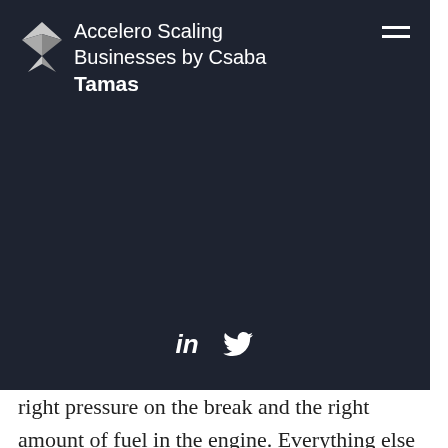Accelero Scaling Businesses by Csaba Tamas
right pressure on the break and the right amount of fuel in the engine. Everything else is taken care of by the engineering team who follows every aspect of the car using the telemetry system. The telemetry system monitors over 120 different sensors scattered throughout the car, that generate data about every aspect of the race at a rate of over 10 MB per second
The data is then beamed to the garage